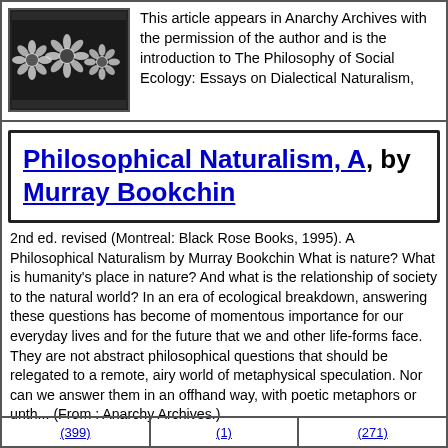[Figure (photo): Black and white photo of a decorative floral/daisy pattern textile or fabric]
This article appears in Anarchy Archives with the permission of the author and is the introduction to The Philosophy of Social Ecology: Essays on Dialectical Naturalism,
Philosophical Naturalism, A, by Murray Bookchin
2nd ed. revised (Montreal: Black Rose Books, 1995). A Philosophical Naturalism by Murray Bookchin What is nature? What is humanity's place in nature? And what is the relationship of society to the natural world? In an era of ecological breakdown, answering these questions has become of momentous importance for our everyday lives and for the future that we and other life-forms face. They are not abstract philosophical questions that should be relegated to a remote, airy world of metaphysical speculation. Nor can we answer them in an offhand way, with poetic metaphors or unth... (From : Anarchy Archives.)
(399)  (1)  (271)